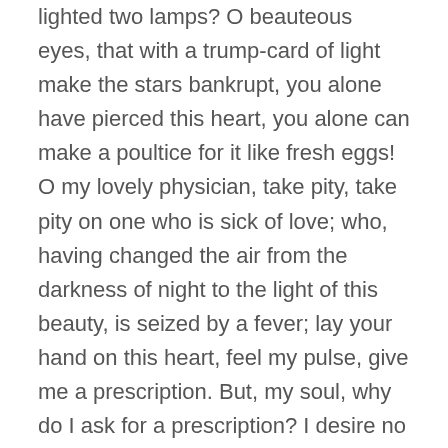lighted two lamps? O beauteous eyes, that with a trump-card of light make the stars bankrupt, you alone have pierced this heart, you alone can make a poultice for it like fresh eggs! O my lovely physician, take pity, take pity on one who is sick of love; who, having changed the air from the darkness of night to the light of this beauty, is seized by a fever; lay your hand on this heart, feel my pulse, give me a prescription. But, my soul, why do I ask for a prescription? I desire no other comfort than a touch of that little hand; for I am certain that with the cordial of that fair grace, and with the healing root of that tongue of thine, I shall be sound and well again."